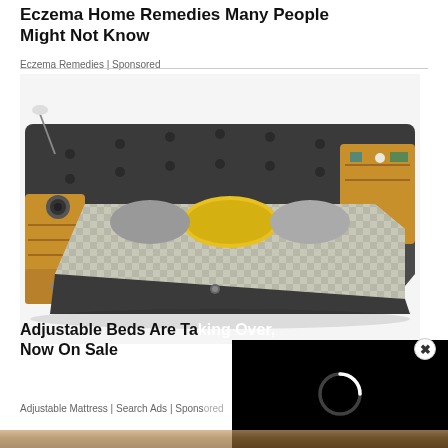Eczema Home Remedies Many People Might Not Know
Eczema Remedies | Sponsored
[Figure (photo): A large multifunctional bed with dark gray upholstery, built-in side shelves with wood finish, speakers, charging ports, and a lamp. The bed has checkered bedding and a yellow pillow.]
Adjustable Beds Are Taking Over, Now On Sale
Adjustable Mattress | Search Ads | Sponsored
[Figure (screenshot): A black video overlay panel with a white spinning loading indicator circle, overlapping the bottom-right portion of the page.]
[Figure (photo): Bottom strip of a partially visible image, appears to show a wood/furniture surface.]